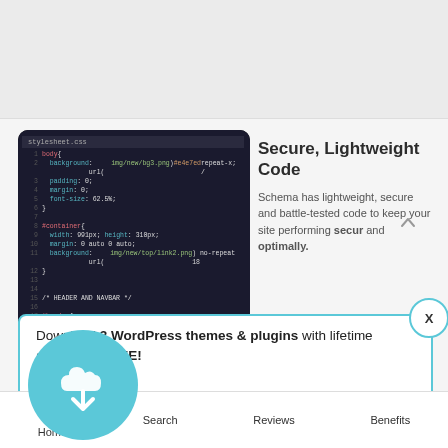[Figure (screenshot): Screenshot of a WordPress theme website showing a laptop with CSS code editor and 'Secure, Lightweight Code' section with description text]
Secure, Lightweight Code
Schema has lightweight, secure and battle-tested code to keep your site performing securely and optimally.
[Figure (infographic): Popup overlay with blue border and cloud download icon. Text: Download 3 WordPress themes & plugins with lifetime access for FREE! Click here to Join link.]
Download 3 WordPress themes & plugins with lifetime access for FREE!
Click here to Join
Home  Search  Reviews  Benefits